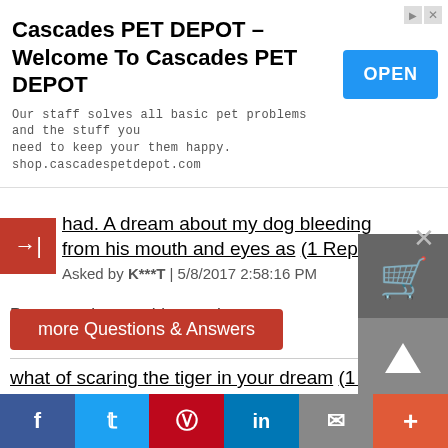[Figure (screenshot): Ad banner for Cascades PET DEPOT with OPEN button]
had. A dream about my dog bleeding from his mouth and eyes as (1 Reply ) Asked by K***T | 5/8/2017 2:58:16 PM
Pretty much everything up there
what of scaring the tiger in your dream (1 Reply ) Asked by L***A | 3/20/2017 12:02:11 PM
Was scaring the tiger which I thought was our dog,so when I realised that,I started running and called my uncle who was outside to come in and so I...
more Questions & Answers